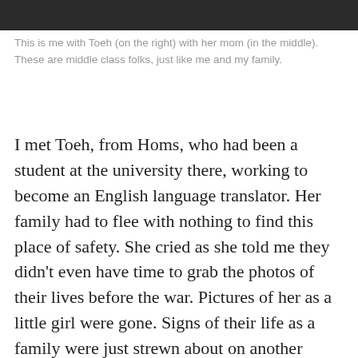[Figure (photo): Partial photo strip at the top of the page showing people, cropped]
This is me with Toeh (on the right) with her mom (in the middle). These are middle class folks, just like me and my family.
I met Toeh, from Homs, who had been a student at the university there, working to become an English language translator. Her family had to flee with nothing to find this place of safety. She cried as she told me they didn't even have time to grab the photos of their lives before the war. Pictures of her as a little girl were gone. Signs of their life as a family were just strewn about on another street in another part of the country. And there were more stories like Toeh's. Everyone at this gathering had one.